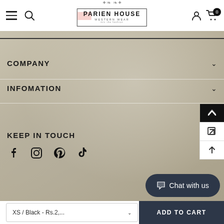[Figure (screenshot): E-commerce website header for Parien House Western Wear with hamburger menu, search icon, logo, user icon, and cart icon showing 0 items]
COMPANY
INFOMATION
KEEP IN TOUCH
[Figure (infographic): Social media icons: Facebook, Instagram, Pinterest, TikTok]
Chat with us
XS / Black - Rs.2,...
ADD TO CART